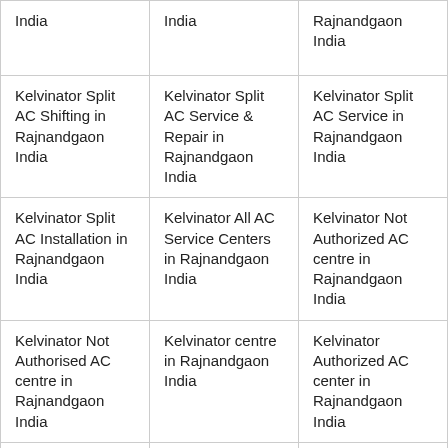| India | India | Rajnandgaon India |
| Kelvinator Split AC Shifting in Rajnandgaon India | Kelvinator Split AC Service & Repair in Rajnandgaon India | Kelvinator Split AC Service in Rajnandgaon India |
| Kelvinator Split AC Installation in Rajnandgaon India | Kelvinator All AC Service Centers in Rajnandgaon India | Kelvinator Not Authorized AC centre in Rajnandgaon India |
| Kelvinator Not Authorised AC centre in Rajnandgaon India | Kelvinator centre in Rajnandgaon India | Kelvinator Authorized AC center in Rajnandgaon India |
| Kelvinator Repair in ... | Kelvinator ... | Kelvinator Split ... |